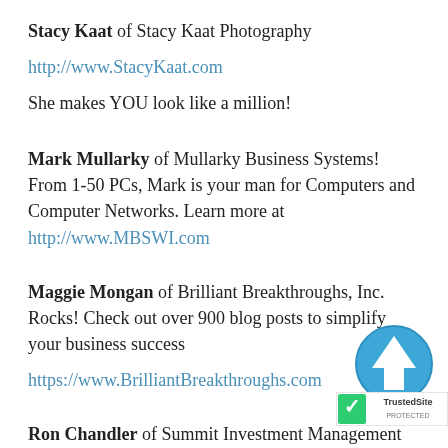Stacy Kaat of Stacy Kaat Photography
http://www.StacyKaat.com
She makes YOU look like a million!
Mark Mullarky of Mullarky Business Systems! From 1-50 PCs, Mark is your man for Computers and Computer Networks. Learn more at http://www.MBSWI.com
Maggie Mongan of Brilliant Breakthroughs, Inc. Rocks! Check out over 900 blog posts to simplify your business success
https://www.BrilliantBreakthroughs.com
Ron Chandler of Summit Investment Management
[Figure (logo): TrustedSite badge with blue circular up-arrow icon and TrustedSite checkmark logo in bottom right corner]